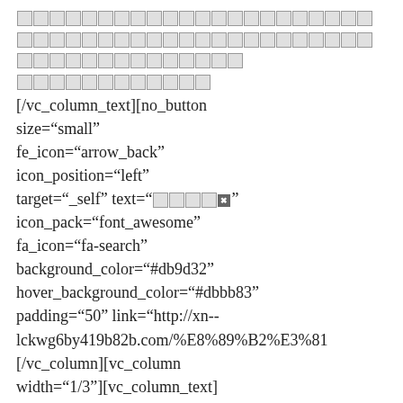□□□□□□□□□□□□□□□□□□□□□□□□□□□□□□□□□□□□□□□□□□□□□□□□□□□□□□□□□□□□
□□□□□□□□□□□□
[/vc_column_text][no_button size="small" fe_icon="arrow_back" icon_position="left" target="_self" text="□□□□□" icon_pack="font_awesome" fa_icon="fa-search" background_color="#db9d32" hover_background_color="#dbbb83" padding="50" link="http://xn--lckwg6by419b82b.com/%E8%89%B2%E3%81
[/vc_column][vc_column width="1/3"][vc_column_text]
□□□□□□□□